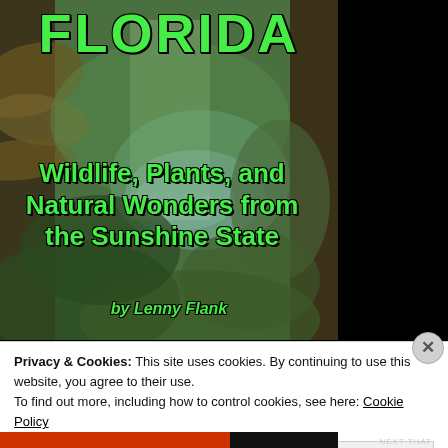[Figure (photo): Book cover of 'Florida: Wildlife, Plants, and Natural Wonders from the Sunshine State' by Lenny Flank. Background shows a Florida forest scene with palm trees, lush green vegetation, and a water body. Title 'FLORIDA' in large green bold letters at top, subtitle in green bold text, author name in green italic at bottom.]
FLORIDA
Wildlife, Plants, and Natural Wonders from the Sunshine State
by Lenny Flank
Privacy & Cookies: This site uses cookies. By continuing to use this website, you agree to their use.
To find out more, including how to control cookies, see here: Cookie Policy
Close and accept